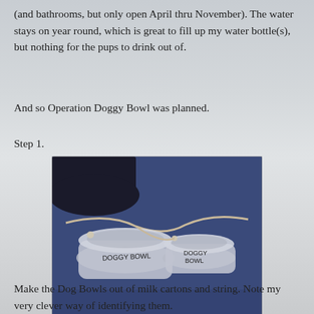(and bathrooms, but only open April thru November). The water stays on year round, which is great to fill up my water bottle(s), but nothing for the pups to drink out of.
And so Operation Doggy Bowl was planned.
Step 1.
[Figure (photo): Two translucent plastic milk carton dog bowls sitting on a blue surface, each labeled 'DOGGY BOWL' in handwritten marker, connected by a rope or string.]
Make the Dog Bowls out of milk cartons and string. Note my very clever way of identifying them.